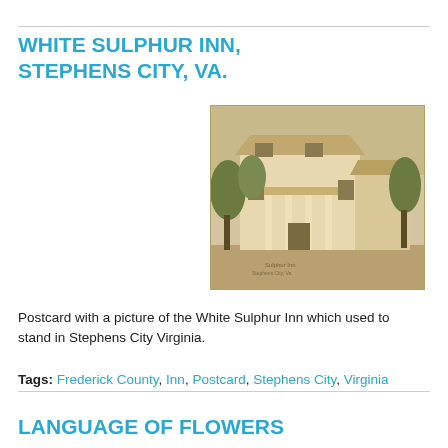WHITE SULPHUR INN, STEPHENS CITY, VA.
[Figure (photo): Sepia-toned postcard photograph of the White Sulphur Inn building in Stephens City, Virginia. The building is a large two-story structure with white columns supporting a covered porch, surrounded by trees.]
Postcard with a picture of the White Sulphur Inn which used to stand in Stephens City Virginia.
Tags: Frederick County, Inn, Postcard, Stephens City, Virginia
LANGUAGE OF FLOWERS